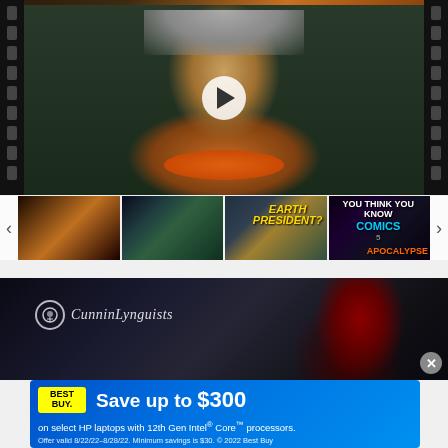[Figure (screenshot): Main video player showing a woman with gray hair and orange necklace, film strip borders on sides, white circular play button in center]
[Figure (screenshot): Thumbnail row with 4 video thumbnails: woman with gray hair, green-faced man with glasses, woman with 'EARTH PRESIDENT?' text, and 'YOU THINK YOU KNOW COMICS APOCALYPSE' text. Left and right navigation arrows visible.]
[Figure (screenshot): Second video player showing dark background with 'Cunninglynguists' logo text and circular icon, dark red figure on right side, X close button]
[Figure (screenshot): Best Buy advertisement banner: blue gradient background, yellow Best Buy logo, text 'Save up to $300 on select HP laptops with 12th Gen Intel Core processors. Offer valid 8/22/22-8/28/22. Minimum savings is $30. © 2022 Best Buy']